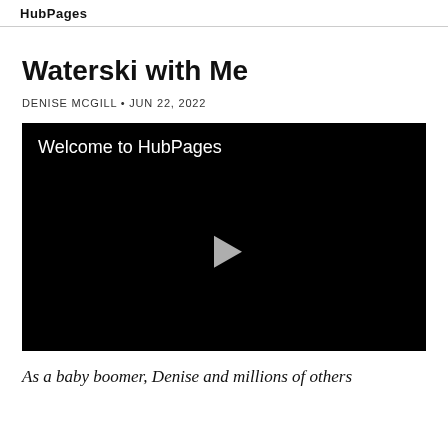HubPages
Waterski with Me
DENISE MCGILL • JUN 22, 2022
[Figure (screenshot): Video player with black background showing 'Welcome to HubPages' text and a play button]
As a baby boomer, Denise and millions of others